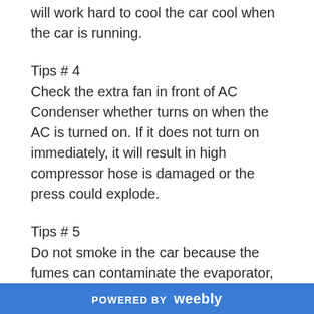will work hard to cool the car cool when the car is running.
Tips # 4
Check the extra fan in front of AC Condenser whether turns on when the AC is turned on. If it does not turn on immediately, it will result in high compressor hose is damaged or the press could explode.
Tips # 5
Do not smoke in the car because the fumes can contaminate the evaporator, its nicotine can be
POWERED BY weebly